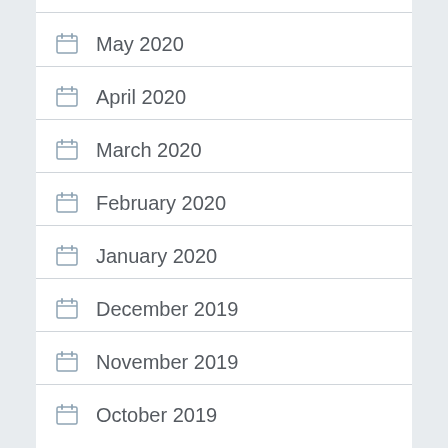May 2020
April 2020
March 2020
February 2020
January 2020
December 2019
November 2019
October 2019